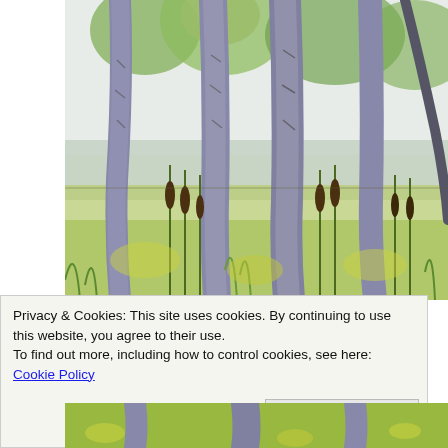[Figure (illustration): A colorful illustration/drawing of tree trunks (grey-purple bark) in a wetland or marsh scene with cattails, green foliage, and a body of water in the background. Style is pen-and-ink with watercolor washes in greens and yellows.]
Privacy & Cookies: This site uses cookies. By continuing to use this website, you agree to their use.
To find out more, including how to control cookies, see here: Cookie Policy
[Figure (illustration): Bottom portion of another illustration similar to the top one — wetland/marsh scene with trees and green foliage.]